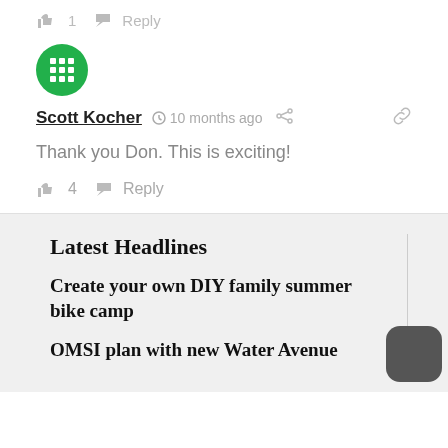👍 1   Reply
[Figure (illustration): Green circular avatar icon with white grid/hashtag pattern for user Scott Kocher]
Scott Kocher  🕐 10 months ago  share  link
Thank you Don. This is exciting!
👍 4   Reply
Latest Headlines
Create your own DIY family summer bike camp
OMSI plan with new Water Avenue